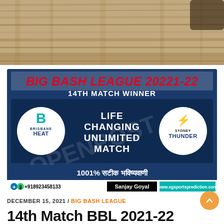[Figure (photo): Wood texture background photo with dark object partially visible at top]
[Figure (infographic): Big Bash League 2021-22 match prediction banner. 14th Match Winner. Brisbane Heat vs Sydney Thunder. Life Changing Unlimited Match. 1001% सटीक भविष्यवाणी. Contact: +918923458133, Sanjay Goyal, www.sgsportsprediction.com. Watermark: OPENPOST]
DECEMBER 15, 2021 / BIG BASH LEAGUE
14th Match BBL 2021-22